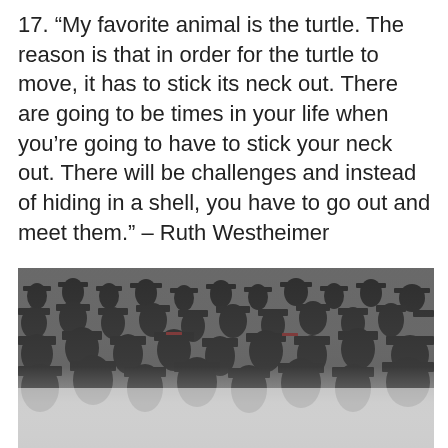17. “My favorite animal is the turtle. The reason is that in order for the turtle to move, it has to stick its neck out. There are going to be times in your life when you’re going to have to stick your neck out. There will be challenges and instead of hiding in a shell, you have to go out and meet them.” – Ruth Westheimer
[Figure (photo): A crowd of graduates wearing black mortarboard caps and gowns, seen from behind at a graduation ceremony. The image fades to a lighter gray at the bottom.]